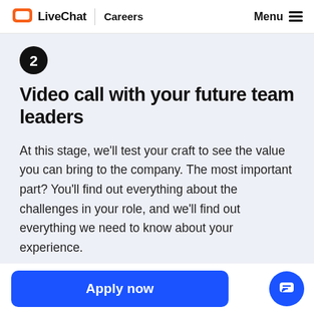LiveChat | Careers | Menu
[Figure (illustration): Dark circular badge with number 2 in white]
Video call with your future team leaders
At this stage, we'll test your craft to see the value you can bring to the company. The most important part? You'll find out everything about the challenges in your role, and we'll find out everything we need to know about your experience.
Apply now